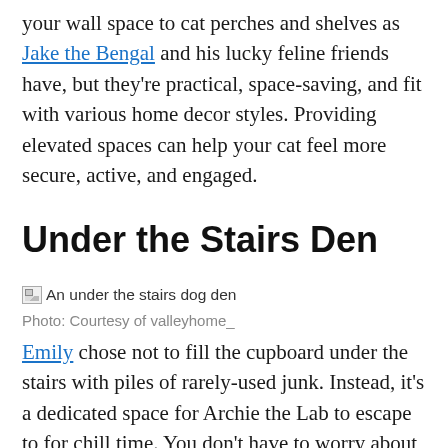your wall space to cat perches and shelves as Jake the Bengal and his lucky feline friends have, but they're practical, space-saving, and fit with various home decor styles. Providing elevated spaces can help your cat feel more secure, active, and engaged.
Under the Stairs Den
[Figure (photo): An under the stairs dog den (broken image placeholder)]
Photo: Courtesy of valleyhome_
Emily chose not to fill the cupboard under the stairs with piles of rarely-used junk. Instead, it's a dedicated space for Archie the Lab to escape to for chill time. You don't have to worry about your dog's favorite, tatty bed not matching your farmhouse decor when it's hidden in this...